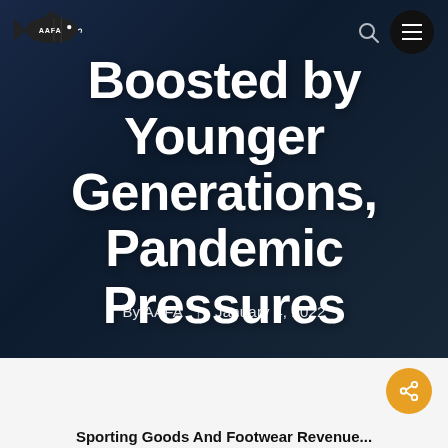[Figure (logo): AAFA fish logo — stylized tuna fish with AAFA text inside body, facing left]
Boosted by Younger Generations, Pandemic Pressures
By AAFA | January 4, 2022
[Figure (other): Golden share button (circular, with share icon) on lower right of white section]
Sporting Goods And Footwear Revenue...